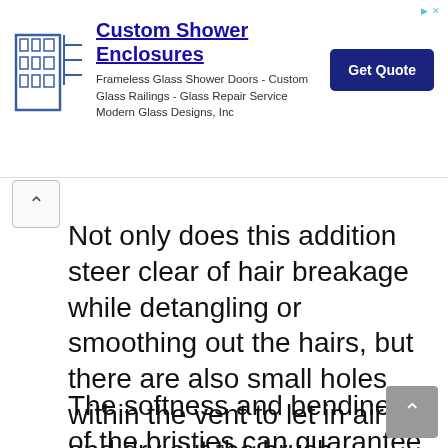[Figure (other): Advertisement banner for Custom Shower Enclosures with building logo, ad text, and Get Quote button]
Not only does this addition steer clear of hair breakage while detangling or smoothing out the hairs, but there are also small holes within the vent to let in air and dry out the brush instantly, getting rid of all possibilities of harmful bacteria growth.
The softness and bendiness of the bristies can guarantee the reduction of constant